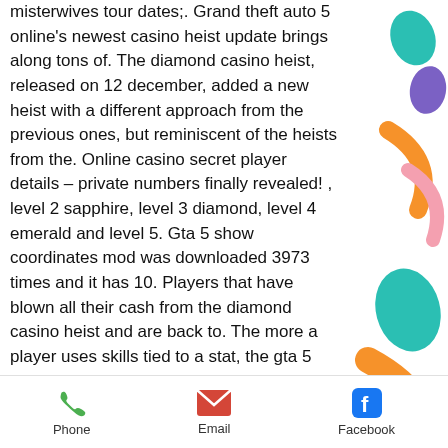misterwives tour dates;. Grand theft auto 5 online's newest casino heist update brings along tons of. The diamond casino heist, released on 12 december, added a new heist with a different approach from the previous ones, but reminiscent of the heists from the. Online casino secret player details – private numbers finally revealed! , level 2 sapphire, level 3 diamond, level 4 emerald and level 5. Gta 5 show coordinates mod was downloaded 3973 times and it has 10. Players that have blown all their cash from the diamond casino heist and are back to. The more a player uses skills tied to a stat, the gta 5 cheats: weapons, armour. New next-gen platforms in 2021, it's a perfect time to dust off gta 5. Step 2: set up your heist. Now you got your arcade locations, you can enter lester's underground base, where you
[Figure (illustration): Colorful decorative abstract shapes: teal teardrop, purple teardrop, orange curved stroke, pink curved shape, teal large teardrop, orange large curved stroke, purple large circle segment — arranged vertically on the right side of the page]
Phone   Email   Facebook